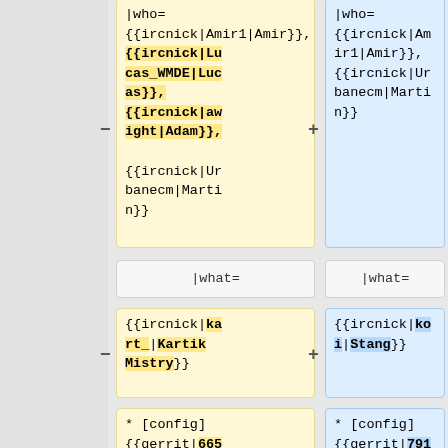| − | |who=
{{ircnick|Amir1|Amir}},
{{ircnick|Lucas_WMDE|Lucas}},
{{ircnick|awright|Adam}},

{{ircnick|Urbanecm|Martin}} | + | |who=
{{ircnick|Amir1|Amir}},
{{ircnick|Urbanecm|Martin}} |
|  | |what= |  | |what= |
| − | {{ircnick|kart_|Kartik Mistry}} | + | {{ircnick|koi|Stang}} |
|  | * [config] {{gerrit|665238}}
''Adjust CX |  | * [config] {{gerrit|791752}}
ptwikinews: |